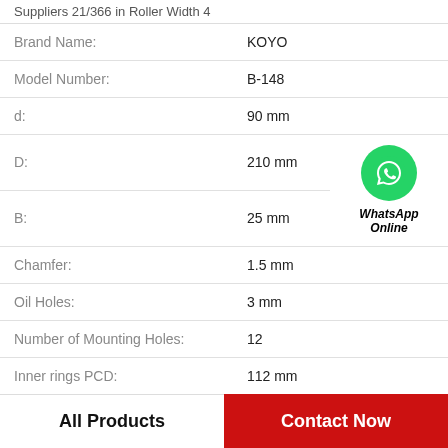Suppliers 21/366 in Roller Width 4
| Property | Value |
| --- | --- |
| Brand Name: | KOYO |
| Model Number: | B-148 |
| d: | 90 mm |
| D: | 210 mm |
| B: | 25 mm |
| Chamfer: | 1.5 mm |
| Oil Holes: | 3 mm |
| Number of Mounting Holes: | 12 |
| Inner rings PCD: | 112 mm |
[Figure (logo): WhatsApp contact button with green phone icon and text 'WhatsApp Online']
All Products   Contact Now